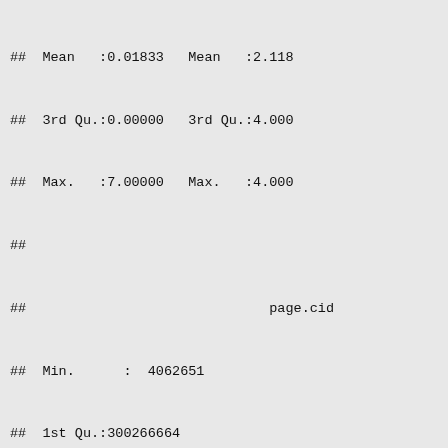## Mean   :0.01833   Mean   :2.118
## 3rd Qu.:0.00000   3rd Qu.:4.000
## Max.   :7.00000   Max.   :4.000
##
##                              page.cid
## Min.      :  4062651
## 1st Qu.:300266664
## Median :401174042
## Mean   :348207322
## 3rd Qu.:412109363
## Max.   :428187561
## NA's   :11
##       count              progress         view_i
## Min.   : 1.000   Min.   :  -1.0   Min.   ::
## 1st Qu.: 1.000   1st Qu.:  -1.0   1st Qu.::
## Median : 1.000   Median :   1.0   Median ::
## Mean   : 1.201   Mean   : 122.3   Mean   ::
## 3rd Qu.: 1.000   3rd Qu.: 101.2   3rd Qu.: